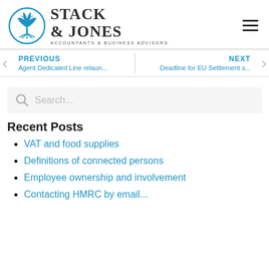[Figure (logo): Stack & Jones Accountants & Business Advisors logo with circular tree emblem and company name]
PREVIOUS
Agent Dedicated Line relaun...
NEXT
Deadline for EU Settlement s...
Search...
Recent Posts
VAT and food supplies
Definitions of connected persons
Employee ownership and involvement
Contacting HMRC by email...